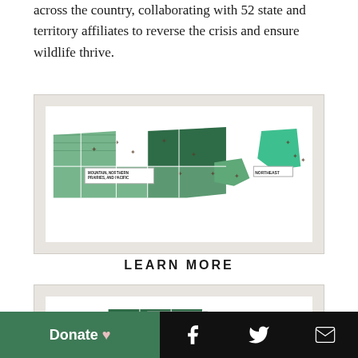across the country, collaborating with 52 state and territory affiliates to reverse the crisis and ensure wildlife thrive.
[Figure (map): Map of the northern/western United States showing regional affiliates with labels 'MOUNTAIN, NORTHERN PRAIRIES, AND PACIFIC' and 'NORTHEAST' marked on a green shaded US map with star markers]
LEARN MORE
[Figure (map): Map of the southern United States showing regional affiliates with label 'SOUTH CENTRAL' on a green shaded map with star markers]
Donate ♥